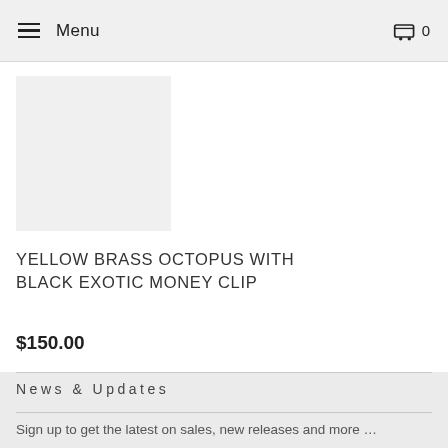Menu  0
[Figure (photo): Product image placeholder – light grey rectangle for Yellow Brass Octopus With Black Exotic Money Clip]
YELLOW BRASS OCTOPUS WITH BLACK EXOTIC MONEY CLIP
$150.00
News & Updates
Sign up to get the latest on sales, new releases and more …